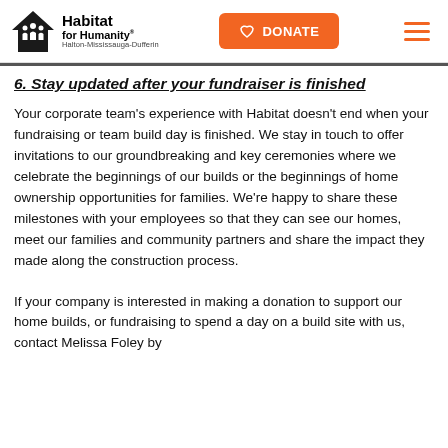Habitat for Humanity Halton-Mississauga-Dufferin | DONATE
6. Stay updated after your fundraiser is finished
Your corporate team's experience with Habitat doesn't end when your fundraising or team build day is finished. We stay in touch to offer invitations to our groundbreaking and key ceremonies where we celebrate the beginnings of our builds or the beginnings of home ownership opportunities for families. We're happy to share these milestones with your employees so that they can see our homes, meet our families and community partners and share the impact they made along the construction process.
If your company is interested in making a donation to support our home builds, or fundraising to spend a day on a build site with us, contact Melissa Foley by